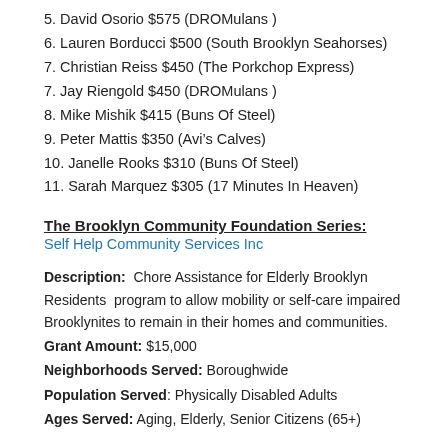5. David Osorio $575 (DROMulans )
6. Lauren Borducci $500 (South Brooklyn Seahorses)
7. Christian Reiss $450 (The Porkchop Express)
7. Jay Riengold $450 (DROMulans )
8. Mike Mishik $415 (Buns Of Steel)
9. Peter Mattis $350 (Avi’s Calves)
10. Janelle Rooks $310 (Buns Of Steel)
11. Sarah Marquez $305 (17 Minutes In Heaven)
The Brooklyn Community Foundation Series:
Self Help Community Services Inc
Description:  Chore Assistance for Elderly Brooklyn Residents  program to allow mobility or self-care impaired Brooklynites to remain in their homes and communities.
Grant Amount: $15,000
Neighborhoods Served: Boroughwide
Population Served: Physically Disabled Adults
Ages Served: Aging, Elderly, Senior Citizens (65+)